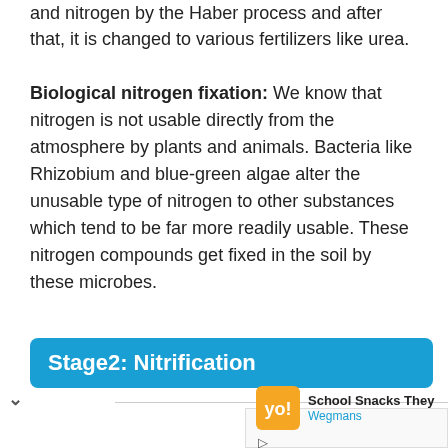and nitrogen by the Haber process and after that, it is changed to various fertilizers like urea.
Biological nitrogen fixation: We know that nitrogen is not usable directly from the atmosphere by plants and animals. Bacteria like Rhizobium and blue-green algae alter the unusable type of nitrogen to other substances which tend to be far more readily usable. These nitrogen compounds get fixed in the soil by these microbes.
Stage2: Nitrification
[Figure (screenshot): Advertisement for Wegmans School Snacks with orange logo icon, title 'School Snacks They' and 'Wegmans' subtitle in blue, with play and close buttons below.]